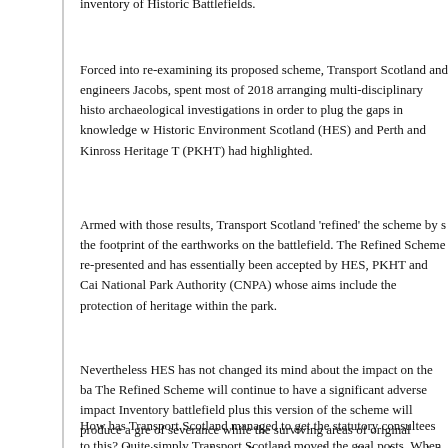inventory of Historic Battlefields.
Forced into re-examining its proposed scheme, Transport Scotland and engineers Jacobs, spent most of 2018 arranging multi-disciplinary historical and archaeological investigations in order to plug the gaps in knowledge which Historic Environment Scotland (HES) and Perth and Kinross Heritage Trust (PKHT) had highlighted.
Armed with those results, Transport Scotland 'refined' the scheme by shrinking the footprint of the earthworks on the battlefield. The Refined Scheme was re-presented and has essentially been accepted by HES, PKHT and Cairngorms National Park Authority (CNPA) whose aims include the protection of cultural heritage within the park.
Nevertheless HES has not changed its mind about the impact on the battlefield. The Refined Scheme will continue to have a significant adverse impact on the Inventory battlefield plus this version of the scheme will produce a greater degree of severance while the surviving areas of original topography - important to understanding of the battle - will be obscured. In plain speak, this means the proposed road will damage the historic environment, be more prominent within the landscape radically and visually reinforce the splitting of the battlefield in two.
How has Transport Scotland managed to get the statutory consultees to accept this? Quite simply Transport Scotland moved the goal posts. When the scheme was first presented in November 2017, any person who wished 'to examine'